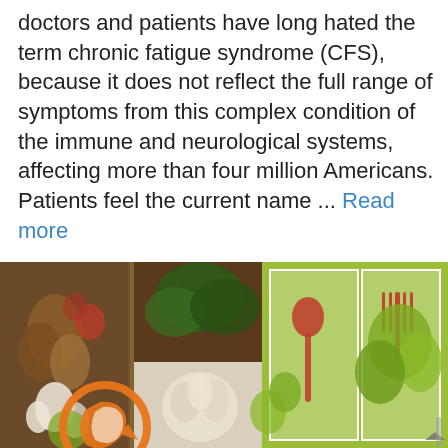doctors and patients have long hated the term chronic fatigue syndrome (CFS), because it does not reflect the full range of symptoms from this complex condition of the immune and neurological systems, affecting more than four million Americans. Patients feel the current name ... Read more
[Figure (photo): A collage of food images including fruits, vegetables (broccoli, garlic, apples, pears), overlaid with a spoon and fork graphic and an orange circular logo/icon in the lower left. The collage has a green-tinted color scheme with brown and orange accents.]